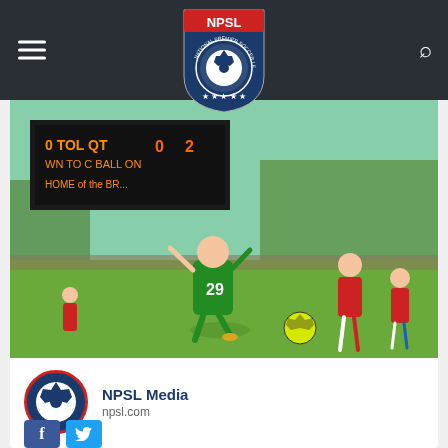[Figure (logo): NPSL National Premier Soccer League shield logo with red NPSL banner at top, blue shield with soccer ball and stars]
[Figure (photo): Soccer match photo showing player number 29 in green uniform about to kick a yellow ball, with scoreboard visible in background and opposing team players in red and white uniforms]
NPSL Media
npsl.com